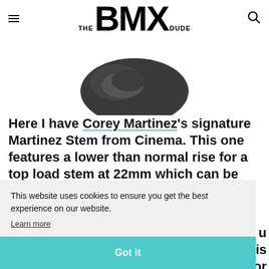THE BMX DUDE
[Figure (photo): Partial view of a black BMX stem component against white background]
Here I have Corey Martinez's signature Martinez Stem from Cinema. This one features a lower than normal rise for a top load stem at 22mm which can be flipped to sit at 88mm
This website uses cookies to ensure you get the best experience on our website. Learn more
Got it